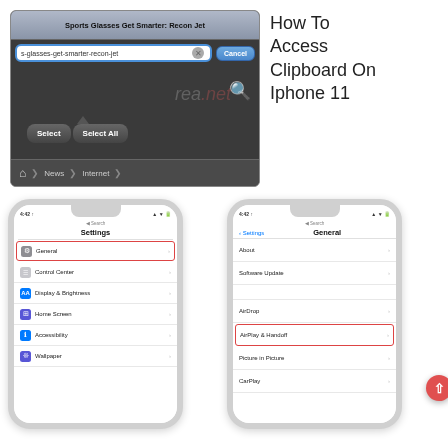[Figure (screenshot): Browser screenshot showing address bar with 's-glasses-get-smarter-recon-jet' URL, Select and Select All popup buttons, and navigation breadcrumb with News > Internet]
How To Access Clipboard On Iphone 11
[Figure (screenshot): iPhone showing Settings screen with General highlighted in red border at the top of the list including Control Center, Display & Brightness, Home Screen, Accessibility, Wallpaper]
[Figure (screenshot): iPhone showing Settings > General screen with About, Software Update, AirDrop, AirPlay & Handoff (highlighted in red border), Picture in Picture, CarPlay listed, and a red scroll-up button]